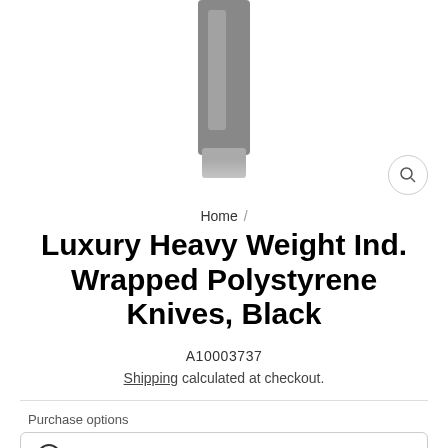[Figure (photo): Partial view of a black polystyrene knife product image on white background]
Home /
Luxury Heavy Weight Ind. Wrapped Polystyrene Knives, Black
A10003737
Shipping calculated at checkout.
Purchase options
One-time purchase  $48.00
Subscribe & Save  $48.00